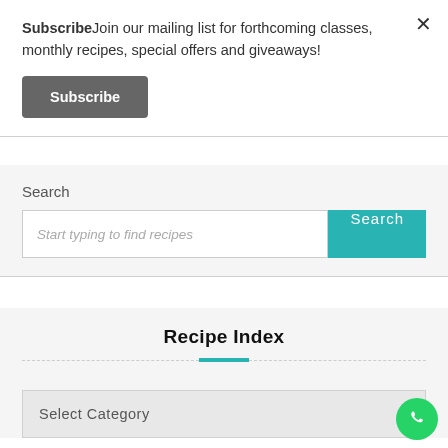SubscribeJoin our mailing list for forthcoming classes, monthly recipes, special offers and giveaways!
Subscribe
Search
Start typing to find recipes
Search
Recipe Index
Select Category